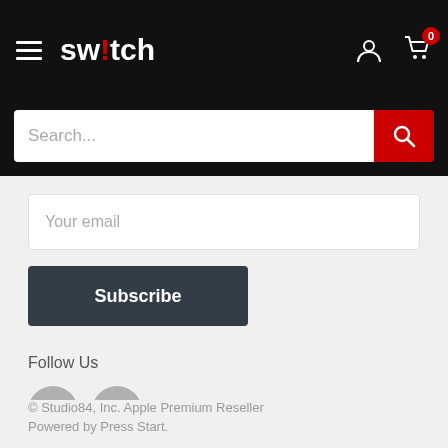switch
Search...
Your email
Subscribe
Follow Us
[Figure (illustration): Facebook and Instagram social media icons (grey circles)]
© Studio84, Inc. Apple Premium Reseller
Powered by Press Start.